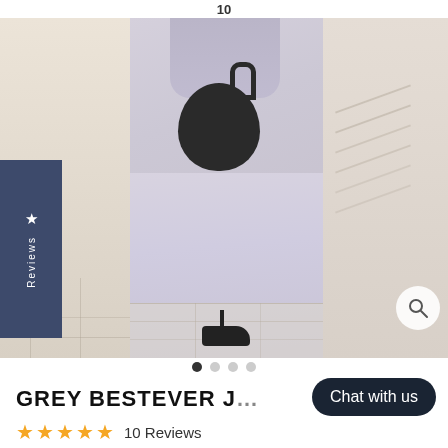10
[Figure (photo): E-commerce product page screenshot showing a grey modest dress/jumpsuit worn by a model, holding a black quilted handbag. The model is wearing black heeled sandals. A left side panel shows a partial view. A dark navy 'Reviews' badge with a star is on the left side. A magnifier icon is in the bottom right of the image area. Carousel navigation dots are below the image.]
GREY BESTEVER J...
Chat with us
★★★★★ 10 Reviews